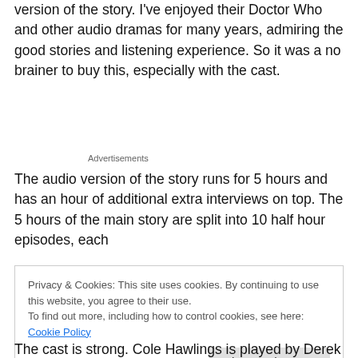version of the story. I've enjoyed their Doctor Who and other audio dramas for many years, admiring the good stories and listening experience. So it was a no brainer to buy this, especially with the cast.
Advertisements
The audio version of the story runs for 5 hours and has an hour of additional extra interviews on top. The 5 hours of the main story are split into 10 half hour episodes, each
Privacy & Cookies: This site uses cookies. By continuing to use this website, you agree to their use.
To find out more, including how to control cookies, see here: Cookie Policy
Close and accept
The cast is strong. Cole Hawlings is played by Derek